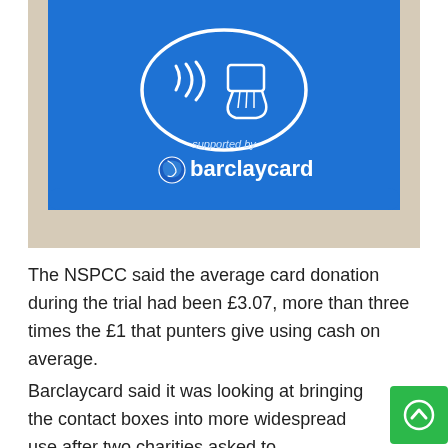[Figure (photo): A blue contactless payment terminal/donation box showing the contactless payment symbol (oval with hand holding card and WiFi waves) and 'supported by barclaycard' text in white, resting on a sandy/concrete surface.]
The NSPCC said the average card donation during the trial had been £3.07, more than three times the £1 that punters give using cash on average.
Barclaycard said it was looking at bringing the contact boxes into more widespread use after two charities asked to